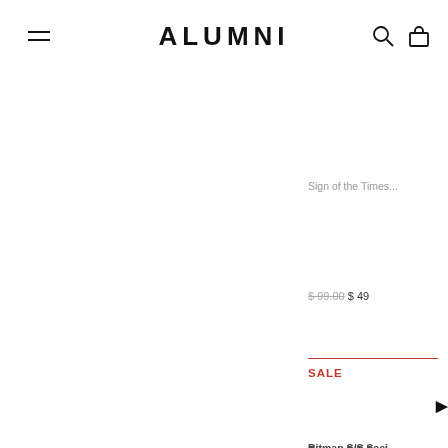ALUMNI
Sign of the Times...
$99.00  $49
SALE
Bitmap S/S Seei...
$99.00  $69
SALE